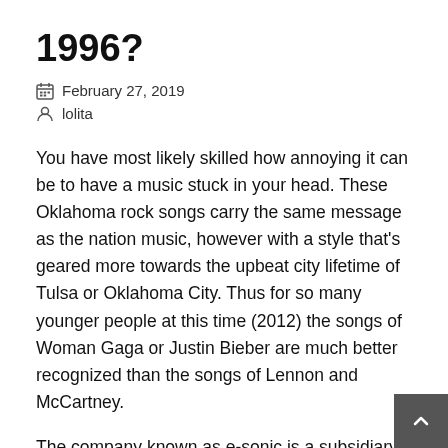1996?
February 27, 2019
lolita
You have most likely skilled how annoying it can be to have a music stuck in your head. These Oklahoma rock songs carry the same message as the nation music, however with a style that's geared more towards the upbeat city lifetime of Tulsa or Oklahoma City. Thus for so many younger people at this time (2012) the songs of Woman Gaga or Justin Bieber are much better recognized than the songs of Lennon and McCartney.
The company known as e-sonic is a subsidiary of Sonic Data; as a subsidiary of Sonic Information e-sonic became responsible for creating an internet